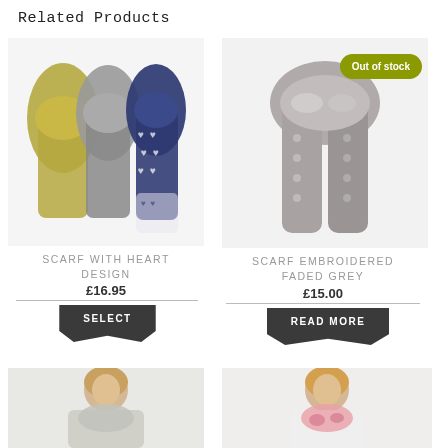Related Products
[Figure (photo): Three scarves displayed together: olive/green on left, grey in middle, navy blue with white hearts on right]
SCARF WITH HEART DESIGN
£16.95
SELECT
[Figure (photo): Grey embroidered scarf laid flat, with 'Out of stock' badge in olive/yellow-green color]
SCARF EMBROIDERED FADED GREY
£15.00
READ MORE
[Figure (photo): Woman wearing a light grey scarf, smiling]
[Figure (photo): Woman wearing a pink patterned scarf, smiling]